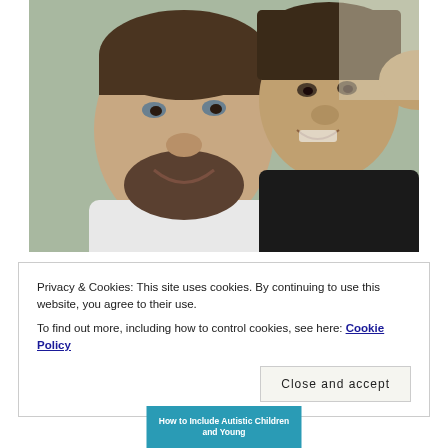[Figure (photo): A selfie photo of two people — an adult man with a beard wearing a white shirt on the left, and a younger person in a black shirt on the right, both smiling at the camera indoors.]
Privacy & Cookies: This site uses cookies. By continuing to use this website, you agree to their use.
To find out more, including how to control cookies, see here: Cookie Policy
[Figure (photo): Partial view of a book cover showing text 'How to Include Autistic Children and Young' with a teal/blue background.]